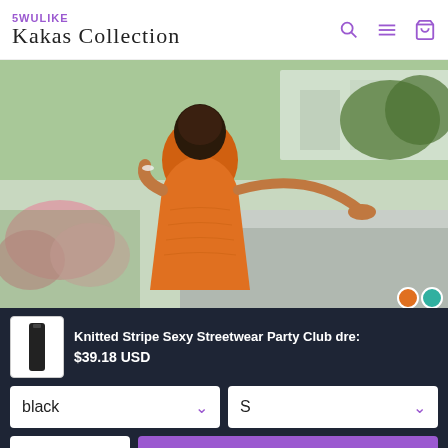5WULIKE Kakas Collection
[Figure (photo): Woman wearing an orange bodycon midi dress, posing outdoors on a rooftop balcony with flowers and greenery in background]
Knitted Stripe Sexy Streetwear Party Club dre: $39.18 USD
black
S
- 1 +
Add To Cart